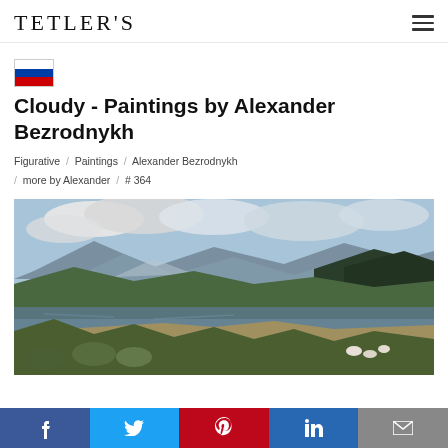TETLER'S
[Figure (illustration): Russian flag icon (white, blue, red horizontal stripes)]
Cloudy - Paintings by Alexander Bezrodnykh
Figurative / Paintings / Alexander Bezrodnykh / more by Alexander / # 364
[Figure (photo): Landscape painting showing a mountain lake scene with trees, hills, cloudy sky and sheep near the water's edge by Alexander Bezrodnykh]
f  Twitter  Pinterest  in  Email